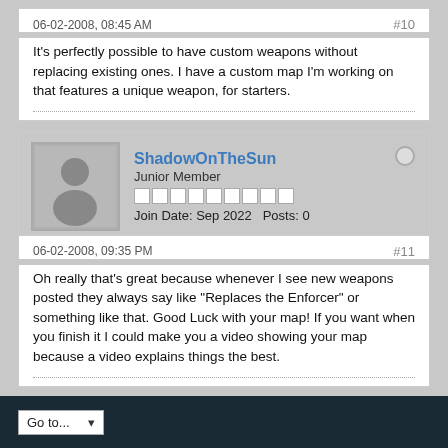06-02-2008, 08:45 AM
#10
It's perfectly possible to have custom weapons without replacing existing ones. I have a custom map I'm working on that features a unique weapon, for starters.
ShadowOnTheSun
Junior Member
Join Date: Sep 2022   Posts: 0
06-02-2008, 09:35 PM
#11
Oh really that's great because whenever I see new weapons posted they always say like "Replaces the Enforcer" or something like that. Good Luck with your map! If you want when you finish it I could make you a video showing your map because a video explains things the best.
Go to...